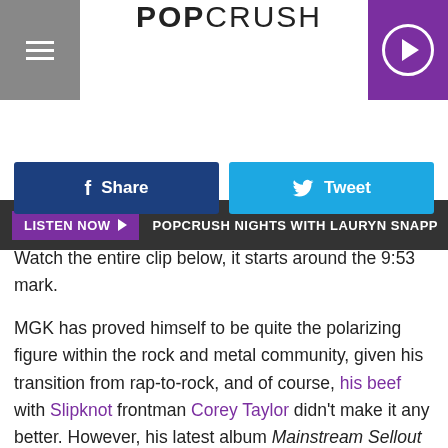POPCRUSH
LISTEN NOW ▶  POPCRUSH NIGHTS WITH LAURYN SNAPP
Share  Tweet
Watch the entire clip below, it starts around the 9:53 mark.
MGK has proved himself to be quite the polarizing figure within the rock and metal community, given his transition from rap-to-rock, and of course, his beef with Slipknot frontman Corey Taylor didn't make it any better. However, his latest album Mainstream Sellout is currently the No. 1 record in the country — making it his second consecutive No. 1 after 2020's Tickets to My Downfall — so there obviously is an audience that appreciates what he's doing.